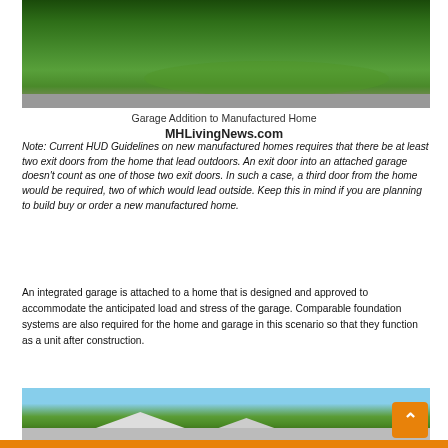[Figure (photo): Aerial or ground-level photo of a manufactured home with green lawn and curved driveway/roundabout area]
Garage Addition to Manufactured Home
MHLivingNews.com
Note: Current HUD Guidelines on new manufactured homes requires that there be at least two exit doors from the home that lead outdoors. An exit door into an attached garage doesn't count as one of those two exit doors. In such a case, a third door from the home would be required, two of which would lead outside. Keep this in mind if you are planning to build buy or order a new manufactured home.
An integrated garage is attached to a home that is designed and approved to accommodate the anticipated load and stress of the garage. Comparable foundation systems are also required for the home and garage in this scenario so that they function as a unit after construction.
[Figure (photo): Photo of a manufactured home with attached garage, trees in background, blue sky]